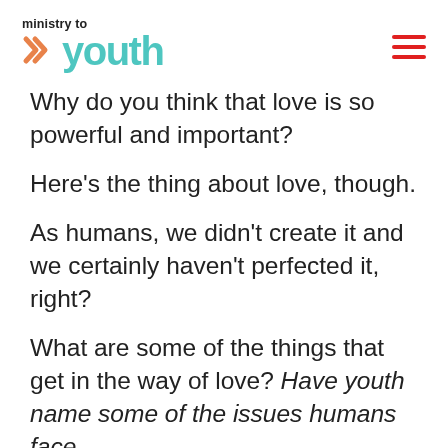[Figure (logo): Ministry to Youth logo with teal double-chevron arrows and 'ministry to youth' text]
Why do you think that love is so powerful and important?
Here's the thing about love, though.
As humans, we didn't create it and we certainly haven't perfected it, right?
What are some of the things that get in the way of love? Have youth name some of the issues humans face